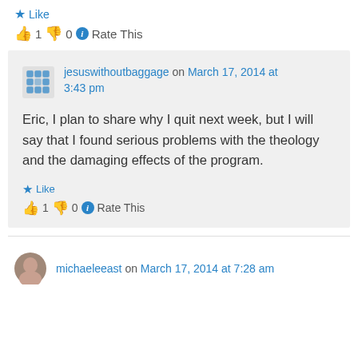Like
👍 1 👎 0 ℹ Rate This
jesuswithoutbaggage on March 17, 2014 at 3:43 pm
Eric, I plan to share why I quit next week, but I will say that I found serious problems with the theology and the damaging effects of the program.
Like
👍 1 👎 0 ℹ Rate This
michaeleeast on March 17, 2014 at 7:28 am